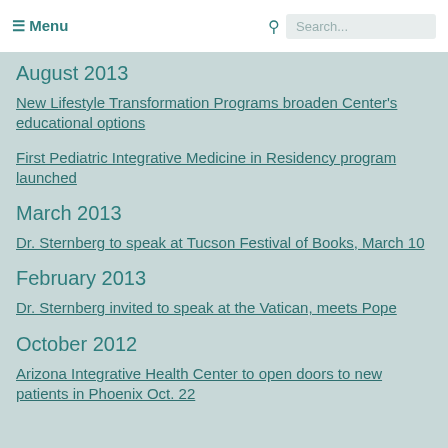☰ Menu   🔍 Search...
August 2013
New Lifestyle Transformation Programs broaden Center's educational options
First Pediatric Integrative Medicine in Residency program launched
March 2013
Dr. Sternberg to speak at Tucson Festival of Books, March 10
February 2013
Dr. Sternberg invited to speak at the Vatican, meets Pope
October 2012
Arizona Integrative Health Center to open doors to new patients in Phoenix Oct. 22